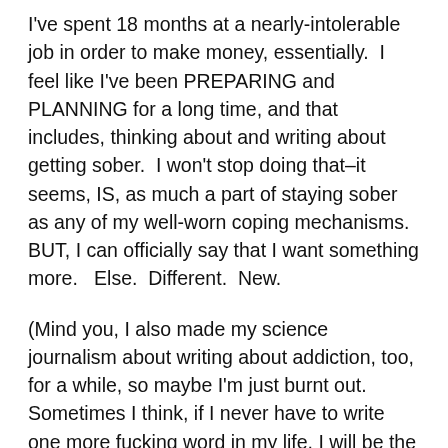I've spent 18 months at a nearly-intolerable job in order to make money, essentially.  I feel like I've been PREPARING and PLANNING for a long time, and that includes, thinking about and writing about getting sober.  I won't stop doing that–it seems, IS, as much a part of staying sober as any of my well-worn coping mechanisms.  BUT, I can officially say that I want something more.   Else.  Different.  New.
(Mind you, I also made my science journalism about writing about addiction, too, for a while, so maybe I'm just burnt out.  Sometimes I think, if I never have to write one more fucking word in my life, I will be the happiest girl alive.  And then I come back to reality:  I am a writer, I am compelled to write.  And I miss it terribly when I don't write; I can't even live my life when I don't process it via the written word!  So, I let that thought go and try to embrace